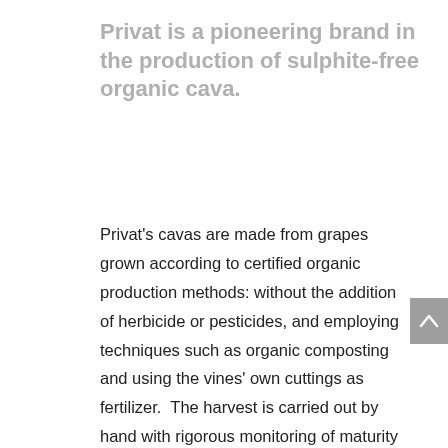Privat is a pioneering brand in the production of sulphite-free organic cava.
Privat's cavas are made from grapes grown according to certified organic production methods: without the addition of herbicide or pesticides, and employing techniques such as organic composting and using the vines' own cuttings as fertilizer.  The harvest is carried out by hand with rigorous monitoring of maturity levels.  The ultimate goal is to maintain biodiversity